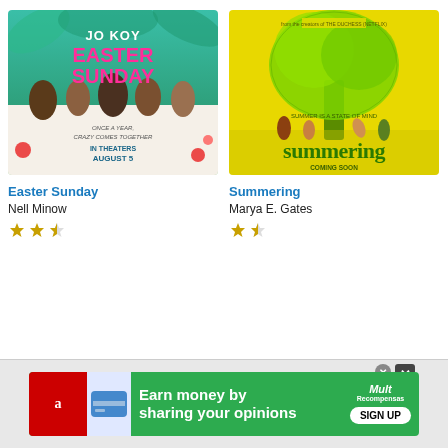[Figure (photo): Movie poster for Easter Sunday featuring Jo Koy and cast around a dinner table, tropical background, text: ONCE A YEAR, CRAZY COMES TOGETHER, IN THEATERS AUGUST 5]
[Figure (photo): Movie poster for Summering showing children playing under a large green tree on a yellow background, text: SUMMERING, SUMMER IS A STATE OF MIND, COMING SOON]
Easter Sunday
Summering
Nell Minow
Marya E. Gates
★★½ (2.5 stars)
★½ (1.5 stars)
[Figure (photo): Advertisement banner: Earn money by sharing your opinions – Amazon/MuTRecompensas SIGN UP]